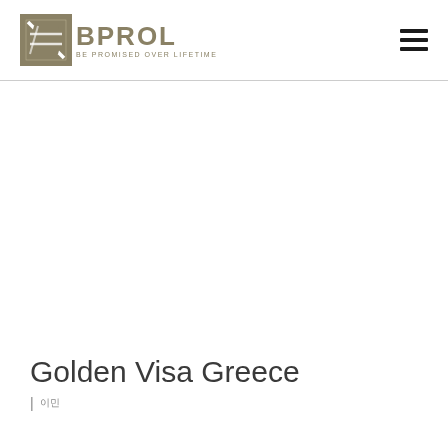BPROL BE PROMISED OVER LIFETIME
Golden Visa Greece
| 이민